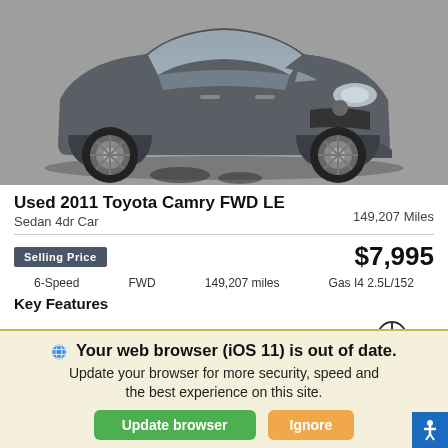[Figure (photo): Front three-quarter view of a gray 2011 Toyota Camry sedan in a parking lot]
Used 2011 Toyota Camry FWD LE
Sedan 4dr Car   149,207 Miles
Selling Price   $7,995
6-Speed   FWD   149,207 miles   Gas I4 2.5L/152
Key Features
[Figure (infographic): Key features icons: Power Seat, Cruise Control, Anti-lock Braking, Carfax Free, Steering Wheel Controls]
Your web browser (iOS 11) is out of date. Update your browser for more security, speed and the best experience on this site.
Update browser   Ignore